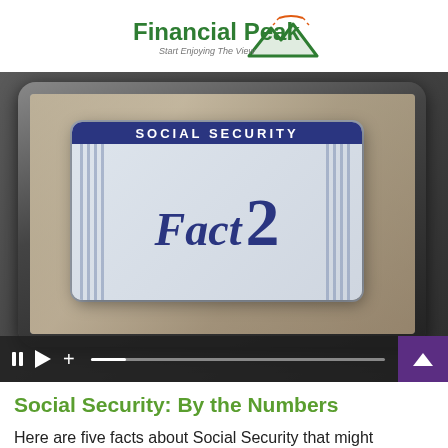[Figure (logo): Financial Peak logo with mountain graphic and tagline 'Start Enjoying The View']
[Figure (screenshot): Video thumbnail showing a Social Security card with 'Fact 2' text on a tablet screen, with video player controls showing 1:13 duration]
Social Security: By the Numbers
Here are five facts about Social Security that might